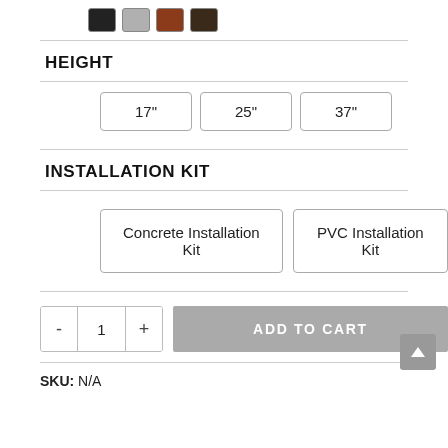[Figure (other): Color swatch options: black, gray, rust/brown, dark brown]
HEIGHT
17"
25"
37"
INSTALLATION KIT
Concrete Installation Kit
PVC Installation Kit
- 1 +   ADD TO CART
SKU: N/A